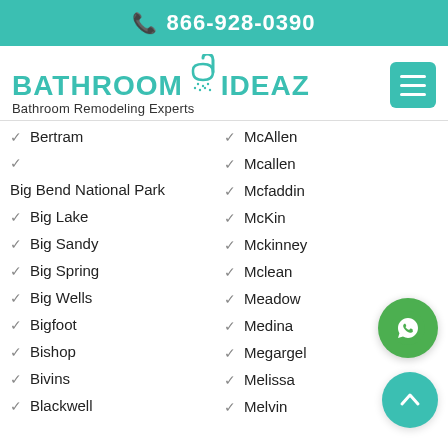866-928-0390
BATHROOM IDEAZ - Bathroom Remodeling Experts
Bertram
Big Bend National Park
Big Lake
Big Sandy
Big Spring
Big Wells
Bigfoot
Bishop
Bivins
Blackwell
McAllen
Mcallen
Mcfaddin
McKin...
Mckinney
Mclean
Meadow
Medina
Megargel
Melissa
Melvin